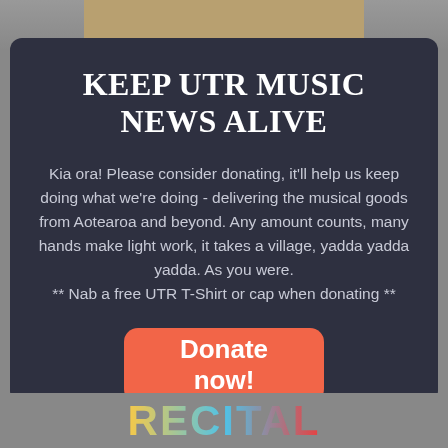KEEP UTR MUSIC NEWS ALIVE
Kia ora! Please consider donating, it'll help us keep doing what we're doing - delivering the musical goods from Aotearoa and beyond. Any amount counts, many hands make light work, it takes a village, yadda yadda yadda. As you were.
** Nab a free UTR T-Shirt or cap when donating **
Donate now!